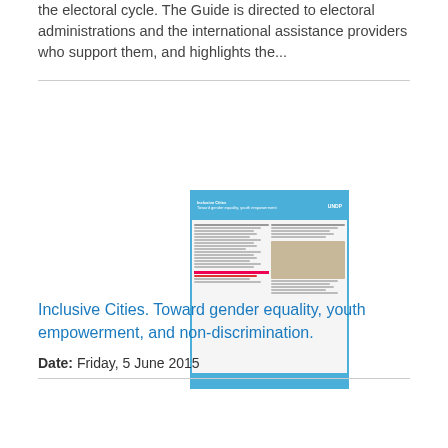the electoral cycle. The Guide is directed to electoral administrations and the international assistance providers who support them, and highlights the...
[Figure (illustration): Thumbnail image of the Inclusive Cities document cover, a document with a blue header, two-column body text, a photo, and a blue footer bar.]
Inclusive Cities. Toward gender equality, youth empowerment, and non-discrimination.
Date: Friday, 5 June 2015
Inclusive Cities. Toward gender equality, youth empowerment, and non-discrimination.
1 - 5 of 5 Results